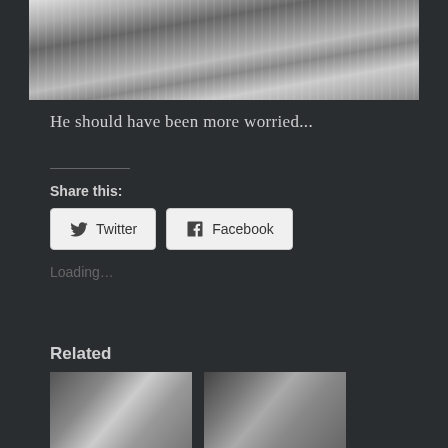[Figure (photo): Black and white photograph showing a reclining figure in striped clothing, cropped view]
He should have been more worried...
Share this:
[Figure (screenshot): Twitter share button]
[Figure (screenshot): Facebook share button]
Loading…
Related
[Figure (photo): Black and white photograph - related content image 1]
[Figure (photo): Black and white photograph - related content image 2]